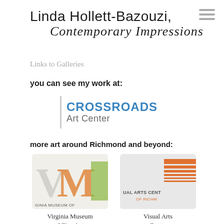Linda Hollett-Bazouzi
Contemporary Impressions
Links to Galleries
you can see my work at:
[Figure (logo): Crossroads Art Center logo with vertical bar and styled text]
more art around Richmond and beyond:
[Figure (logo): Virginia Museum of Fine Arts (VMFA) logo]
Virginia Museum of Fine Arts
[Figure (logo): Visual Arts Center of Richmond logo]
Visual Arts Center